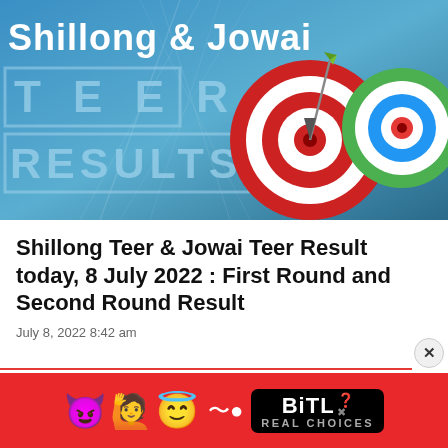[Figure (photo): Hero banner image for Shillong & Jowai Teer Results with dart targets on a blue background. Text overlays read 'Shillong & Jowai', 'T E E R', and 'RESULTS'. Two dart target circles (one red-white, one blue-green) are visible on the right side.]
Shillong Teer & Jowai Teer Result today, 8 July 2022 : First Round and Second Round Result
July 8, 2022 8:42 am
[Figure (screenshot): Advertisement banner for BitLife - Real Choices mobile game, showing emojis (devil, person, angel) and the BitLife logo on a red background with 'REAL CHOICES' text.]